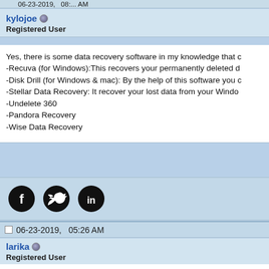06-23-2019, 08:... AM
kylojoe
Registered User
Yes, there is some data recovery software in my knowledge that c
-Recuva (for Windows):This recovers your permanently deleted d
-Disk Drill (for Windows & mac): By the help of this software you c
-Stellar Data Recovery: It recover your lost data from your Windo
-Undelete 360
-Pandora Recovery
-Wise Data Recovery
[Figure (infographic): Social sharing icons: Facebook, Twitter, LinkedIn]
06-23-2019,   05:26 AM
larika
Registered User
I also had to face the recovery of deleted files. Used the program https://www.diskinternals.com/uneraser/ there is a promotional ve the lost
[Figure (infographic): Social sharing icons: Facebook, Twitter, LinkedIn (partially visible at bottom)]